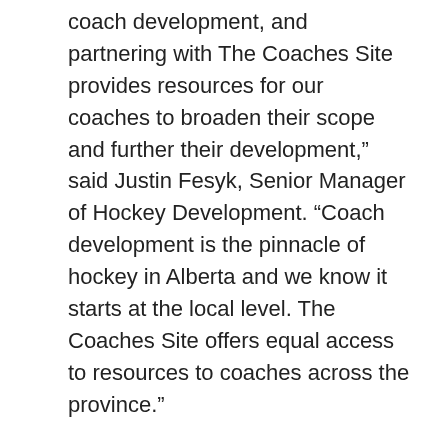coach development, and partnering with The Coaches Site provides resources for our coaches to broaden their scope and further their development,” said Justin Fesyk, Senior Manager of Hockey Development. “Coach development is the pinnacle of hockey in Alberta and we know it starts at the local level. The Coaches Site offers equal access to resources to coaches across the province.”
Hockey Alberta’s Coaching Pathway includes NCCP certification, instructional stream courses, and professional development opportunities, along with resources such as The Coaches Site. For more information, check out the Hockey Alberta website: hockeyalberta.ca/coaches.
The Coaches Site is a platform where the best hockey leaders in the world share their expertise and experience with a global hockey network. For